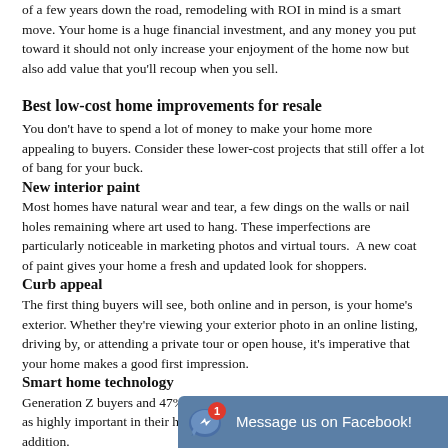of a few years down the road, remodeling with ROI in mind is a smart move. Your home is a huge financial investment, and any money you put toward it should not only increase your enjoyment of the home now but also add value that you'll recoup when you sell.
Best low-cost home improvements for resale
You don't have to spend a lot of money to make your home more appealing to buyers. Consider these lower-cost projects that still offer a lot of bang for your buck.
New interior paint
Most homes have natural wear and tear, a few dings on the walls or nail holes remaining where art used to hang. These imperfections are particularly noticeable in marketing photos and virtual tours.  A new coat of paint gives your home a fresh and updated look for shoppers.
Curb appeal
The first thing buyers will see, both online and in person, is your home's exterior. Whether they're viewing your exterior photo in an online listing, driving by, or attending a private tour or open house, it's imperative that your home makes a good first impression.
Smart home technology
Generation Z buyers and 47% of millennials rate smart home technology as highly important in their home search.  Smart ther... easy addition.
New lighting